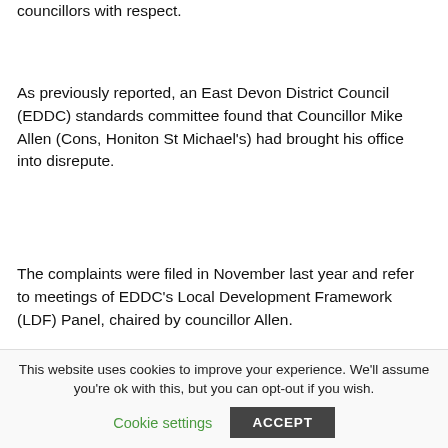councillors with respect.
As previously reported, an East Devon District Council (EDDC) standards committee found that Councillor Mike Allen (Cons, Honiton St Michael's) had brought his office into disrepute.
The complaints were filed in November last year and refer to meetings of EDDC's Local Development Framework (LDF) Panel, chaired by councillor Allen.
The EDDC standards committee met in May and found that Councillor Allen had
This website uses cookies to improve your experience. We'll assume you're ok with this, but you can opt-out if you wish.
Cookie settings
ACCEPT